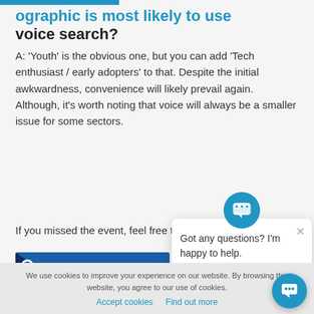ographic is most likely to use voice search?
A: 'Youth' is the obvious one, but you can add 'Tech enthusiast / early adopters' to that. Despite the initial awkwardness, convenience will likely prevail again. Although, it's worth noting that voice will always be a smaller issue for some sectors.
If you missed the event, feel free to watch the talk here:
[Figure (screenshot): Blue thumbnail with 'Voice Search - th' text and logo overlay]
Got any questions? I'm happy to help.
We use cookies to improve your experience on our website. By browsing this website, you agree to our use of cookies.
Accept cookies   Find out more